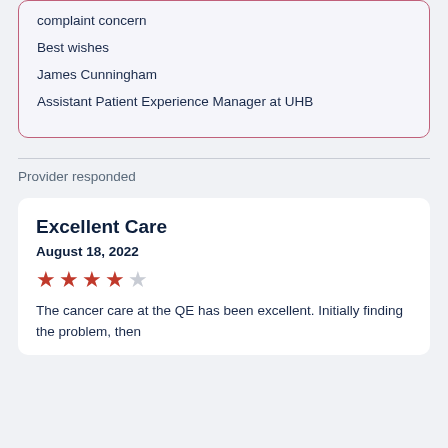complaint concern
Best wishes
James Cunningham
Assistant Patient Experience Manager at UHB
Provider responded
Excellent Care
August 18, 2022
[Figure (other): 4 out of 5 star rating shown as filled and empty stars]
The cancer care at the QE has been excellent. Initially finding the problem, then